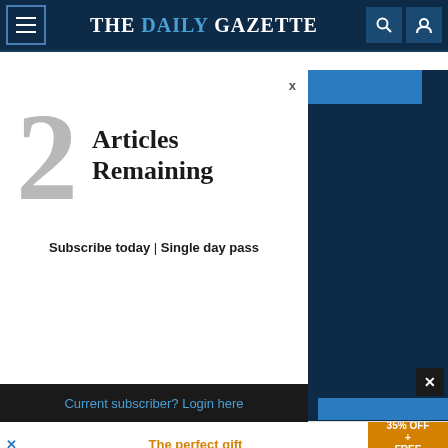THE DAILY GAZETTE
Subscription Services
Subscribe
Pay my bill
Vacation Stop
2 Articles Remaining
Subscribe today | Single day pass
Current subscriber? Login here
The perfect gift
35% OFF + FREE SHIPPING